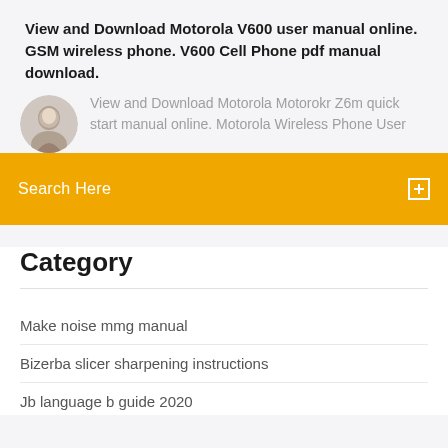View and Download Motorola V600 user manual online. GSM wireless phone. V600 Cell Phone pdf manual download.
View and Download Motorola Motorokr Z6m quick start manual online. Motorola Wireless Phone User
Search Here
Category
Make noise mmg manual
Bizerba slicer sharpening instructions
Jb language b guide 2020